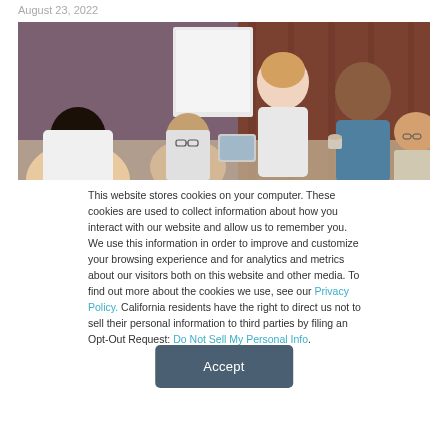August 23, 2022
[Figure (photo): Group of five people in a business meeting around a table, with a whiteboard in the background and wooden wall panel, discussing over a tablet.]
This website stores cookies on your computer. These cookies are used to collect information about how you interact with our website and allow us to remember you. We use this information in order to improve and customize your browsing experience and for analytics and metrics about our visitors both on this website and other media. To find out more about the cookies we use, see our Privacy Policy. California residents have the right to direct us not to sell their personal information to third parties by filing an Opt-Out Request: Do Not Sell My Personal Info.
Accept